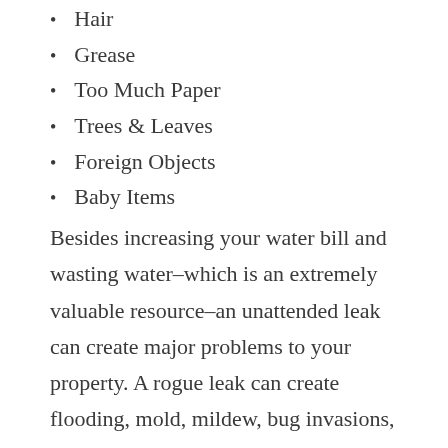Hair
Grease
Too Much Paper
Trees & Leaves
Foreign Objects
Baby Items
Besides increasing your water bill and wasting water–which is an extremely valuable resource–an unattended leak can create major problems to your property. A rogue leak can create flooding, mold, mildew, bug invasions, erosion of soil, and plenty of other issues. To avoid these damages, it’s important